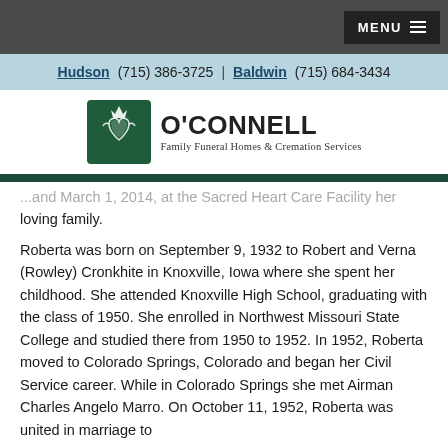MENU
Hudson (715) 386-3725 | Baldwin (715) 684-3434
[Figure (logo): O'Connell Family Funeral Homes & Cremation Services logo with claddagh emblem]
...and March 1, 2014, at the Sacred Heart Care Facility her loving family. Roberta was born on September 9, 1932 to Robert and Verna (Rowley) Cronkhite in Knoxville, Iowa where she spent her childhood. She attended Knoxville High School, graduating with the class of 1950. She enrolled in Northwest Missouri State College and studied there from 1950 to 1952. In 1952, Roberta moved to Colorado Springs, Colorado and began her Civil Service career. While in Colorado Springs she met Airman Charles Angelo Marro. On October 11, 1952, Roberta was united in marriage to